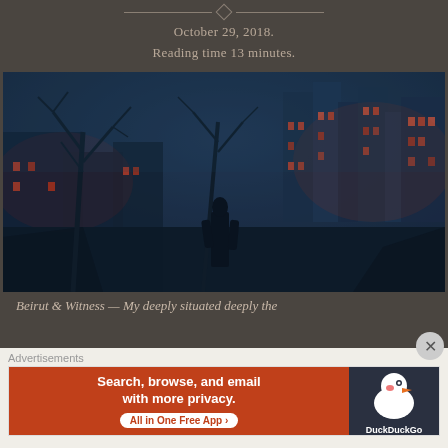October 29, 2018.
Reading time 13 minutes.
[Figure (illustration): Dark moody cityscape scene with a silhouetted figure standing amid glowing red-lit buildings and bare trees in a foggy night environment]
Beirut & Witness — My deeply situated deeply the
Advertisements
[Figure (other): DuckDuckGo advertisement banner: 'Search, browse, and email with more privacy. All in One Free App' with DuckDuckGo logo on dark background]